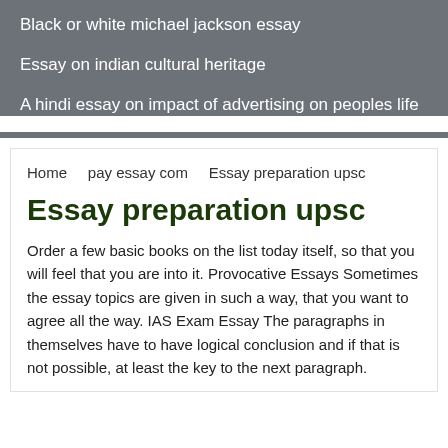Black or white michael jackson essay
Essay on indian cultural heritage
A hindi essay on impact of advertising on peoples life
Home   pay essay com   Essay preparation upsc
Essay preparation upsc
Order a few basic books on the list today itself, so that you will feel that you are into it. Provocative Essays Sometimes the essay topics are given in such a way, that you want to agree all the way. IAS Exam Essay The paragraphs in themselves have to have logical conclusion and if that is not possible, at least the key to the next paragraph.